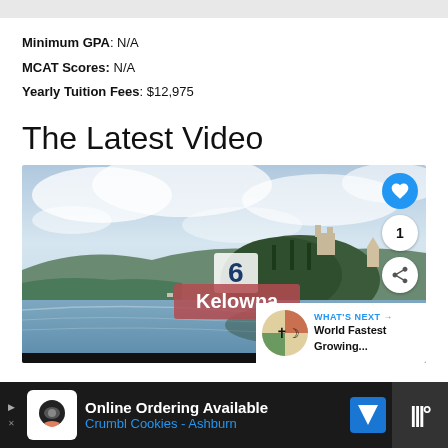Minimum GPA: N/A
MCAT Scores: N/A
Yearly Tuition Fees: $12,975
The Latest Video
[Figure (screenshot): Video thumbnail showing Lake Bled with a forested island and castle, cloudy sky. Overlaid UI elements: heart/like button, share button, count badge '1', number badge '6', location badge 'Kelowna', and a 'WHAT'S NEXT' panel showing 'World Fastest Growing...']
[Figure (screenshot): Advertisement bar at bottom: 'Online Ordering Available / Crumbl Cookies - Ashburn' with cookie logo icon and navigation arrow icon]